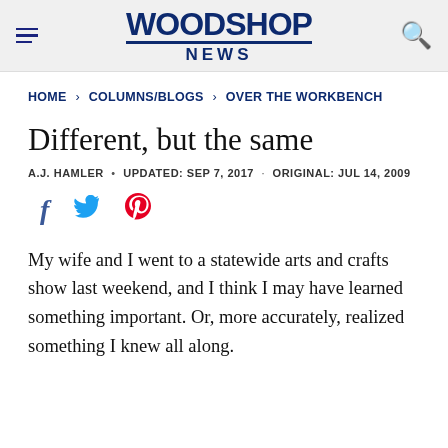WOODSHOP NEWS
HOME › COLUMNS/BLOGS › OVER THE WORKBENCH
Different, but the same
A.J. HAMLER • UPDATED: SEP 7, 2017 · ORIGINAL: JUL 14, 2009
[Figure (other): Social sharing icons: Facebook (f), Twitter (bird), Pinterest (P)]
My wife and I went to a statewide arts and crafts show last weekend, and I think I may have learned something important. Or, more accurately, realized something I knew all along.